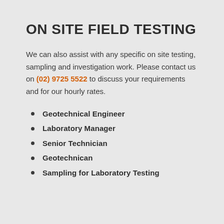ON SITE FIELD TESTING
We can also assist with any specific on site testing, sampling and investigation work. Please contact us on (02) 9725 5522 to discuss your requirements and for our hourly rates.
Geotechnical Engineer
Laboratory Manager
Senior Technician
Geotechnican
Sampling for Laboratory Testing